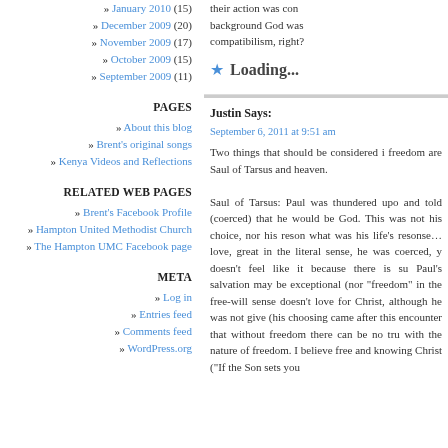» January 2010 (15)
» December 2009 (20)
» November 2009 (17)
» October 2009 (15)
» September 2009 (11)
PAGES
» About this blog
» Brent's original songs
» Kenya Videos and Reflections
RELATED WEB PAGES
» Brent's Facebook Profile
» Hampton United Methodist Church
» The Hampton UMC Facebook page
META
» Log in
» Entries feed
» Comments feed
» WordPress.org
their action was co... background God was ... compatibilism, right?
Loading...
Justin Says:
September 6, 2011 at 9:51 am
Two things that should be considered i... freedom are Saul of Tarsus and heaven.
Saul of Tarsus: Paul was thundered up... and told (coerced) that he would be God... This was not his choice, nor his reson... what was his life's resonse…love, great ... in the literal sense, he was coerced, y... doesn't feel like it because there is su... Paul's salvation may be exceptional (nor... "freedom" in the free-will sense doesn't... love for Christ, although he was not give... (his choosing came after this encounter... that without freedom there can be no tru... with the nature of freedom. I believe free... and knowing Christ ("If the Son sets you...